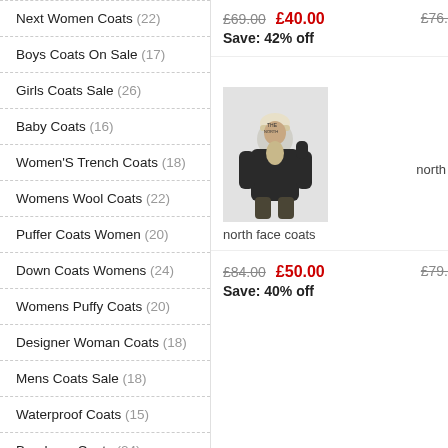Next Women Coats (22)
Boys Coats On Sale (17)
Girls Coats Sale (26)
Baby Coats (16)
Women'S Trench Coats (18)
Womens Wool Coats (22)
Puffer Coats Women (20)
Down Coats Womens (24)
Womens Puffy Coats (20)
Designer Woman Coats (18)
Mens Coats Sale (18)
Waterproof Coats (15)
Berghaus Coats (24)
Mens Pea Coats (16)
Coats Stone Island (13)
£69.00  £40.00  Save: 42% off  £76...
[Figure (photo): Woman wearing a black North Face puffer coat with beige beanie and scarf]
north face coats
£84.00  £50.00  Save: 40% off  £79...